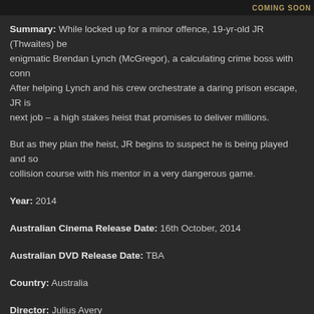[Figure (photo): Banner image of a movie promotional graphic with text 'COMING SOON' on a dark background]
Summary: While locked up for a minor offence, 19-yr-old JR (Thwaites) becomes the protégé of the enigmatic Brendan Lynch (McGregor), a calculating crime boss with connections throughout the prison. After helping Lynch and his crew orchestrate a daring prison escape, JR is coerced into taking part in their next job – a high stakes heist that promises to deliver millions.
But as they plan the heist, JR begins to suspect he is being played and so finds himself on a collision course with his mentor in a very dangerous game.
Year: 2014
Australian Cinema Release Date: 16th October, 2014
Australian DVD Release Date: TBA
Country: Australia
Director: Julius Avery
Screenwriter: Julius Avery, John Collee
Cast: Eddie Baroo (Merv), Tom Budge (Josh), Nash Edgerton (Chris), Damian Walshe-Howling (Wilson), Sam Hutchin (Dave), Marko Jovanovic (Ken), Jacek Koman (Sam), Ewan McGregor (Brendan), Matt Nable (Sterlo), Soa Palelei (Thomy), Bren Foster, Alicia Vikander (Tasha)